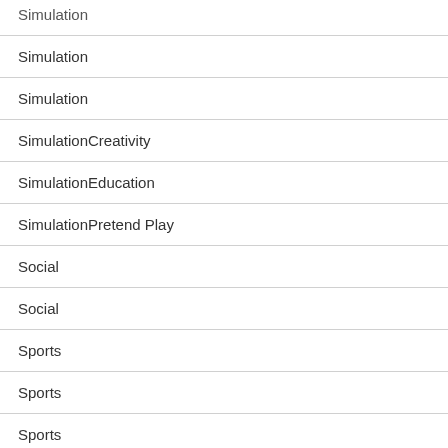Simulation
Simulation
Simulation
SimulationCreativity
SimulationEducation
SimulationPretend Play
Social
Social
Sports
Sports
Sports
SportsAction & Adventure
Strategy
Strategy